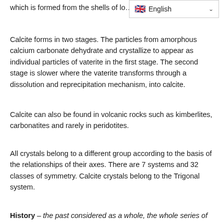which is formed from the shells of lo…
[Figure (other): Language selector badge showing English with UK flag]
Calcite forms in two stages. The particles from amorphous calcium carbonate dehydrate and crystallize to appear as individual particles of vaterite in the first stage. The second stage is slower where the vaterite transforms through a dissolution and reprecipitation mechanism, into calcite.
Calcite can also be found in volcanic rocks such as kimberlites, carbonatites and rarely in peridotites.
All crystals belong to a different group according to the basis of the relationships of their axes. There are 7 systems and 32 classes of symmetry. Calcite crystals belong to the Trigonal system.
History – the past considered as a whole, the whole series of